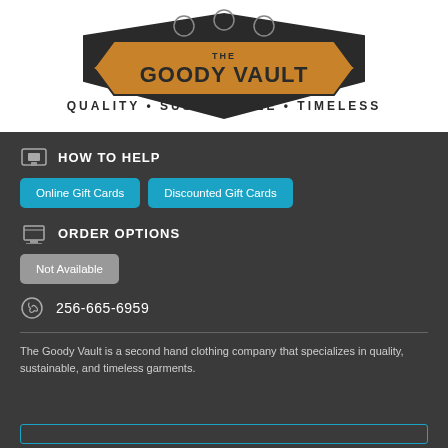[Figure (logo): The Goody Vault logo with banner and tagline QUALITY • SUSTAINABLE • TIMELESS]
HOW TO HELP
Online Gift Cards
Discounted Gift Cards
ORDER OPTIONS
Not Available
256-665-6959
The Goody Vault is a second hand clothing company that specializes in quality, sustainable, and timeless garments.